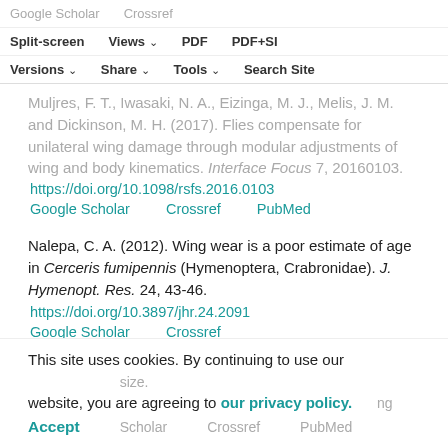Google Scholar   Crossref   Split-screen   Views   PDF   PDF+SI   Versions   Share   Tools   Search Site
Muljres, F. T., Iwasaki, N. A., Eizinga, M. J., Melis, J. M. and Dickinson, M. H. (2017). Flies compensate for unilateral wing damage through modular adjustments of wing and body kinematics. Interface Focus 7, 20160103. https://doi.org/10.1098/rsfs.2016.0103
Google Scholar   Crossref   PubMed
Nalepa, C. A. (2012). Wing wear is a poor estimate of age in Cerceris fumipennis (Hymenoptera, Crabronidae). J. Hymenopt. Res. 24, 43-46. https://doi.org/10.3897/jhr.24.2091
Google Scholar   Crossref
O'Neill, K. M., Delphia, C. M. and Pitts-Singer, T. L. (2015). Seasonal trends in the condition of nesting females of a ... size.
This site uses cookies. By continuing to use our website, you are agreeing to our privacy policy.
Accept